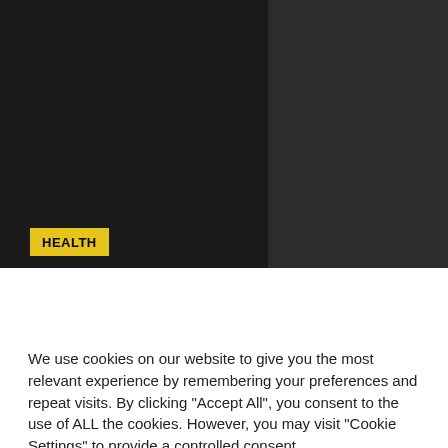[Figure (screenshot): Dark website background with a dark content panel on the left and darker panel on the right. A yellow 'HEALTH' badge label is visible in the lower-left area of the left panel.]
Gebrakan agen poker Microgaming di tahun
We use cookies on our website to give you the most relevant experience by remembering your preferences and repeat visits. By clicking “Accept All”, you consent to the use of ALL the cookies. However, you may visit "Cookie Settings" to provide a controlled consent.
Cookie Settings | Accept All